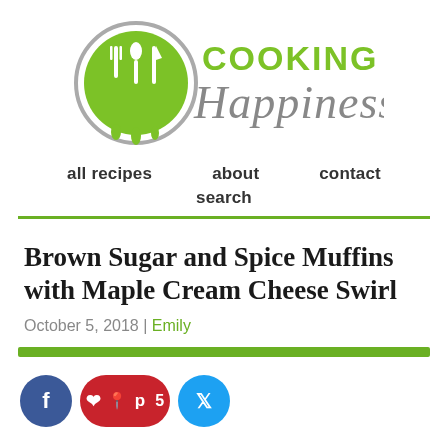[Figure (logo): Cooking Up Happiness logo: green circle with white fork, spoon, knife icons, with 'COOKING UP Happiness' text in green and gray]
all recipes   about   contact   search
Brown Sugar and Spice Muffins with Maple Cream Cheese Swirl
October 5, 2018 | Emily
[Figure (other): Social share buttons: Facebook (blue circle), Pinterest with count 5 (red pill), Twitter (blue circle)]